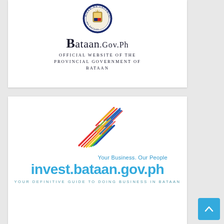[Figure (logo): Bataan.gov.ph official website logo with provincial seal. Shows circular seal at top, then 'Bataan.gov.ph' in large serif text, and 'Official Website of the Provincial Government of Bataan' in small caps below.]
[Figure (logo): invest.bataan.gov.ph logo with colorful arrow graphic made of diagonal lines in red, yellow, blue colors pointing upward. Text: 'Your Business. Our People', 'invest.bataan.gov.ph', 'YOUR DEFINITIVE GUIDE TO DOING BUSINESS IN BATAAN'.]